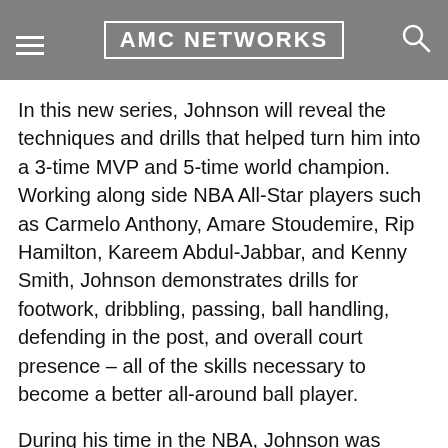one of the best players to ever play the game, and is sure to be a huge hit with our audience."
In this new series, Johnson will reveal the techniques and drills that helped turn him into a 3-time MVP and 5-time world champion. Working along side NBA All-Star players such as Carmelo Anthony, Amare Stoudemire, Rip Hamilton, Kareem Abdul-Jabbar, and Kenny Smith, Johnson demonstrates drills for footwork, dribbling, passing, ball handling, defending in the post, and overall court presence – all of the skills necessary to become a better all-around ball player.
During his time in the NBA, Johnson was widely recognized as one of the most complete players in basketball. Throughout his career he has received numerous awards and accolades, including 12 All-Star appearances, three